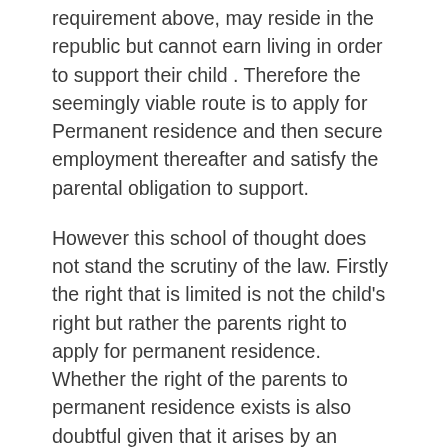requirement above, may reside in the republic but cannot earn living in order to support their child . Therefore the seemingly viable route is to apply for Permanent residence and then secure employment thereafter and satisfy the parental obligation to support.
However this school of thought does not stand the scrutiny of the law. Firstly the right that is limited is not the child's right but rather the parents right to apply for permanent residence. Whether the right of the parents to permanent residence exists is also doubtful given that it arises by an operation of law.   But if for the moment we accept that the child's right has been limited directly by section 27(g) we have to look at whether such limitation is in line with the principles of the limitations clause in